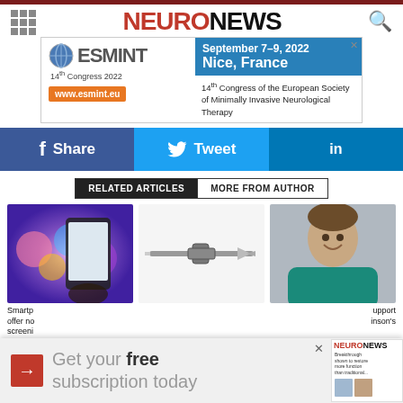NEURONEWS
[Figure (photo): ESMINT 14th Congress 2022 advertisement banner, September 7-9 2022, Nice France, www.esmint.eu]
[Figure (infographic): Social sharing buttons: Facebook Share, Twitter Tweet, LinkedIn]
RELATED ARTICLES | MORE FROM AUTHOR
[Figure (photo): Hand holding a smartphone with colorful bokeh lights]
[Figure (photo): Medical/surgical tool - appears to be a trocar or cannula]
[Figure (photo): Man in teal scrubs smiling, portrait photo]
Smartp offer no screeni
upport inson's
[Figure (infographic): Popup subscription banner: Get your free subscription today with NeuroNews magazine image]